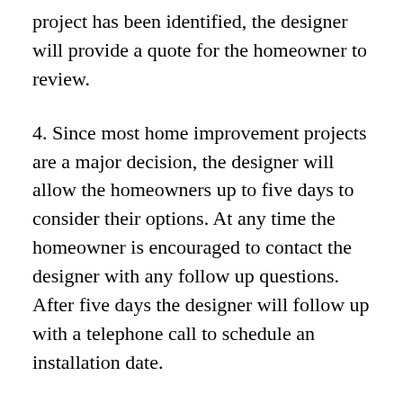project has been identified, the designer will provide a quote for the homeowner to review.
4. Since most home improvement projects are a major decision, the designer will allow the homeowners up to five days to consider their options. At any time the homeowner is encouraged to contact the designer with any follow up questions. After five days the designer will follow up with a telephone call to schedule an installation date.